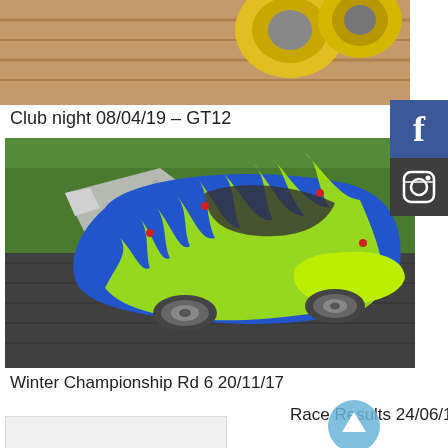[Figure (photo): Top portion of RC cars or wheels on wooden surface, brown/orange background]
Club night 08/04/19 – GT12
[Figure (photo): RC car with blue body and neon green flame design, silver wing, on dark grey surface with grass background]
Winter Championship Rd 6 20/11/17
Race Results 24/06/13
[Figure (photo): Placeholder image with camera icon]